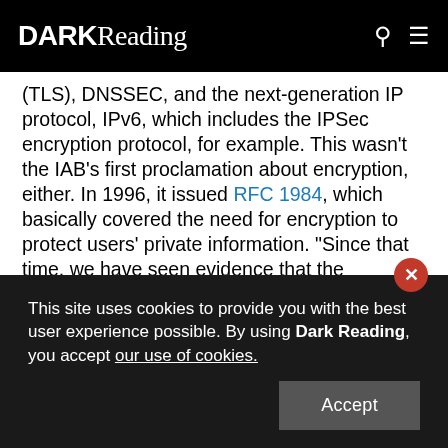DARK Reading
(TLS), DNSSEC, and the next-generation IP protocol, IPv6, which includes the IPSec encryption protocol, for example. This wasn't the IAB's first proclamation about encryption, either. In 1996, it issued RFC 1984, which basically covered the need for encryption to protect users' private information. "Since that time, we have seen evidence that the capabilities and activities of attackers are greater and more pervasive than previously known," Housley said in the recent IAB statement.
This site uses cookies to provide you with the best user experience possible. By using Dark Reading, you accept our use of cookies.